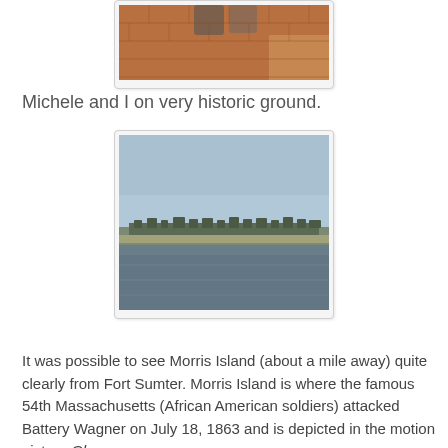[Figure (photo): Partial view of a photo showing brick ground and feet of two people standing on historic ground]
Michele and I on very historic ground.
[Figure (photo): Landscape photo of Morris Island viewed from Fort Sumter showing water in the foreground and a low-lying tree-lined island in the distance under a clear blue sky]
It was possible to see Morris Island (about a mile away) quite clearly from Fort Sumter. Morris Island is where the famous 54th Massachusetts (African American soldiers) attacked Battery Wagner on July 18, 1863 and is depicted in the motion picture Glory.